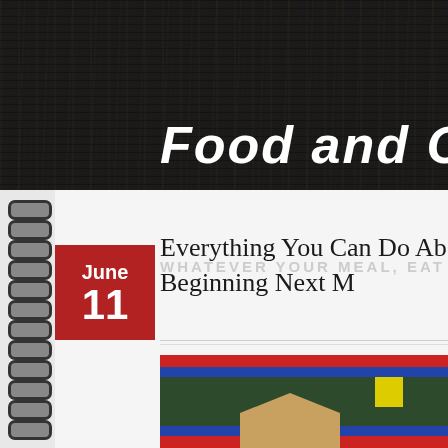Food and Cafe
Whatever your meal, eat with gratefu
June 11
Everything You Can Do Ab Beginning Next M
[Figure (photo): Photo showing colorful stripes (red, blue, yellow, green) and a brown envelope or package, suggesting a food delivery or cafe context.]